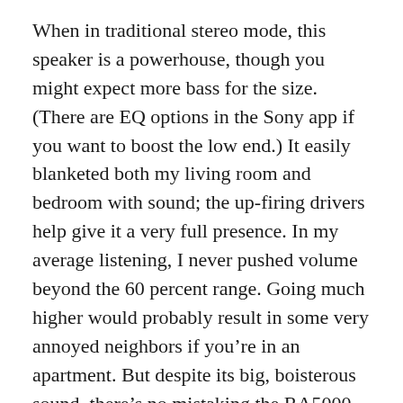When in traditional stereo mode, this speaker is a powerhouse, though you might expect more bass for the size. (There are EQ options in the Sony app if you want to boost the low end.) It easily blanketed both my living room and bedroom with sound; the up-firing drivers help give it a very full presence. In my average listening, I never pushed volume beyond the 60 percent range. Going much higher would probably result in some very annoyed neighbors if you're in an apartment. But despite its big, boisterous sound, there's no mistaking the RA5000 for a proper set of stereo speakers. It sounds every bit like the single enclosure it is.
THE VERGE